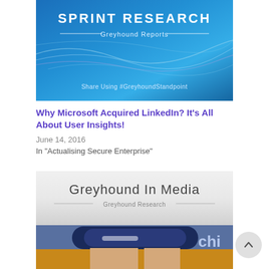[Figure (illustration): Sprint Research Greyhound Reports banner image with blue wavy background. White text reads 'SPRINT RESEARCH' at top, 'Greyhound Reports' below with decorative lines, and 'Share Using #GreyhoundStandpoint' at the bottom.]
Why Microsoft Acquired LinkedIn? It's All About User Insights!
June 14, 2016
In "Actualising Secure Enterprise"
[Figure (illustration): Greyhound In Media banner showing 'Greyhound In Media' in large text and 'Greyhound Research' below with decorative lines, over a photo of rolled up magazines/newspapers being held by a person in a yellow sweater.]